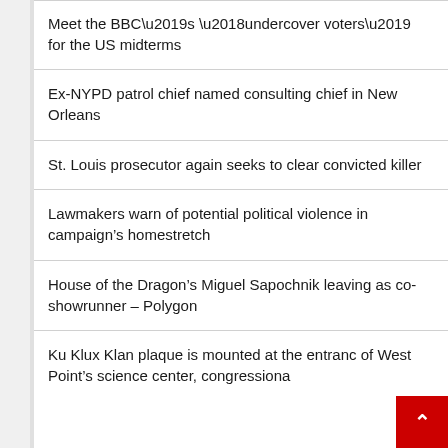Meet the BBC’s ‘undercover voters’ for the US midterms
Ex-NYPD patrol chief named consulting chief in New Orleans
St. Louis prosecutor again seeks to clear convicted killer
Lawmakers warn of potential political violence in campaign’s homestretch
House of the Dragon’s Miguel Sapochnik leaving as co-showrunner – Polygon
Ku Klux Klan plaque is mounted at the entrance of West Point’s science center, congressional